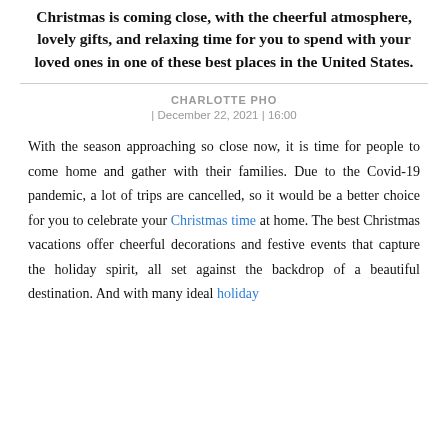Christmas is coming close, with the cheerful atmosphere, lovely gifts, and relaxing time for you to spend with your loved ones in one of these best places in the United States.
CHARLOTTE PHO
| December 22, 2021 | 16:00
With the season approaching so close now, it is time for people to come home and gather with their families. Due to the Covid-19 pandemic, a lot of trips are cancelled, so it would be a better choice for you to celebrate your Christmas time at home. The best Christmas vacations offer cheerful decorations and festive events that capture the holiday spirit, all set against the backdrop of a beautiful destination. And with many ideal holiday